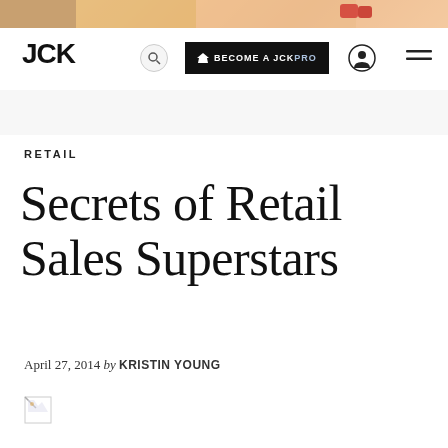[Figure (photo): Partial top image strip showing a person with colored nails and blonde hair]
JCK | BECOME A JCKPRO
RETAIL
Secrets of Retail Sales Superstars
April 27, 2014 by KRISTIN YOUNG
[Figure (photo): Broken image placeholder at bottom left]